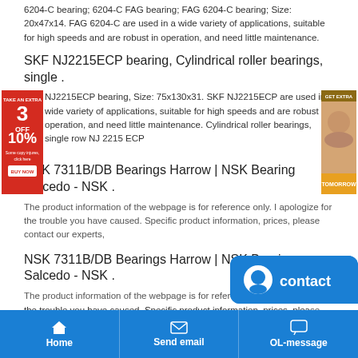6204-C bearing; 6204-C FAG bearing; FAG 6204-C bearing; Size: 20x47x14. FAG 6204-C are used in a wide variety of applications, suitable for high speeds and are robust in operation, and need little maintenance.
SKF NJ2215ECP bearing, Cylindrical roller bearings, single .
[Figure (other): Red advertisement banner on left with '3 OFF 10%' text and a button. Portrait photo advertisement on the right side.]
NJ2215ECP bearing, Size: 75x130x31. SKF NJ2215ECP are used in a wide variety of applications, suitable for high speeds and are robust in operation, and need little maintenance. Cylindrical roller bearings, single row NJ 2215 ECP
NSK 7311B/DB Bearings Harrow | NSK Bearing Salcedo - NSK .
The product information of the webpage is for reference only. I apologize for the trouble you have caused. Specific product information, prices, please contact our experts,
NSK 7311B/DB Bearings Harrow | NSK Bearing Salcedo - NSK .
The product information of the webpage is for reference only. I apologize for the trouble you have caused. Specific product information, prices, please contact our experts,
[Figure (other): Blue contact bubble with smiley icon and 'contact' label]
Home   Send email   OL-message